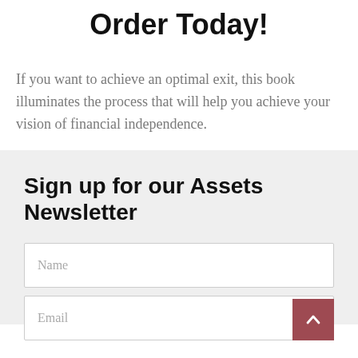Order Today!
If you want to achieve an optimal exit, this book illuminates the process that will help you achieve your vision of financial independence.
Sign up for our Assets Newsletter
Name
Email